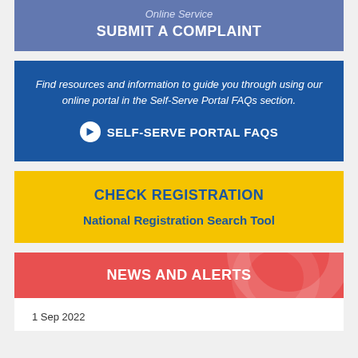Online Service
SUBMIT A COMPLAINT
Find resources and information to guide you through using our online portal in the Self-Serve Portal FAQs section.
SELF-SERVE PORTAL FAQS
CHECK REGISTRATION
National Registration Search Tool
NEWS AND ALERTS
1 Sep 2022